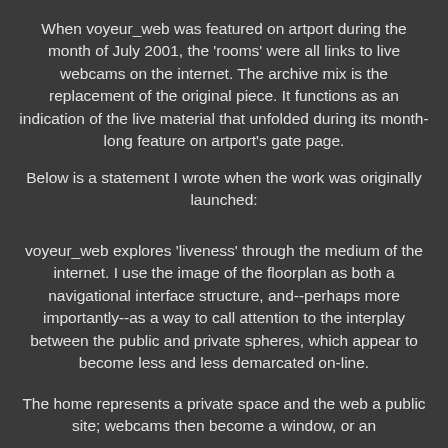When voyeur_web was featured on artport during the month of July 2001, the 'rooms' were all links to live webcams on the internet. The archive mix is the replacement of the original piece. It functions as an indication of the live material that unfolded during its month-long feature on artport's gate page.
Below is a statement I wrote when the work was originally launched:
voyeur_web explores 'liveness' through the medium of the internet. I use the image of the floorplan as both a navigational interface structure, and--perhaps more importantly--as a way to call attention to the interplay between the public and private spheres, which appear to become less and less demarcated on-line.
The home represents a private space and the web a public site; webcams then become a window, or an